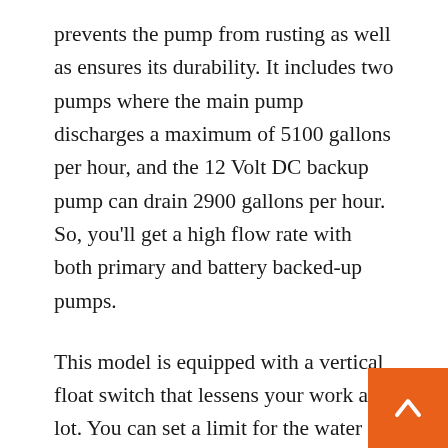prevents the pump from rusting as well as ensures its durability. It includes two pumps where the main pump discharges a maximum of 5100 gallons per hour, and the 12 Volt DC backup pump can drain 2900 gallons per hour. So, you'll get a high flow rate with both primary and battery backed-up pumps.
This model is equipped with a vertical float switch that lessens your work a lot. You can set a limit for the water level, so whenever it exceeds that range, the sump pump will turn on automatically. Along with all other unique features, it ensures safety with a powerful alarm system and LED light. The pump alarm keeps ringing every 20 seconds when the pump is activated. Besides, the LED indicator lets you know about the battery status.